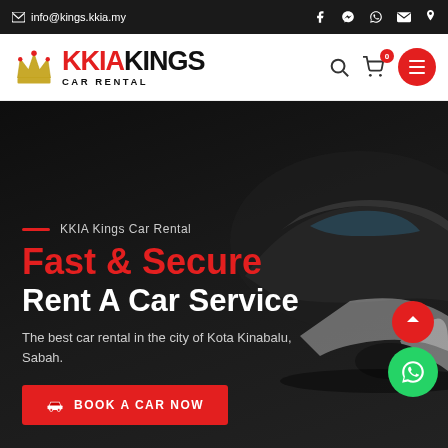info@kings.kkia.my
[Figure (logo): KKIA Kings Car Rental logo with crown icon, red and black KKIA KINGS text, CAR RENTAL subtitle]
[Figure (photo): Dark hero banner with sports car silhouette, red and white text: Fast & Secure Rent A Car Service, description The best car rental in the city of Kota Kinabalu, Sabah., red BOOK A CAR NOW button, floating red up-arrow and green WhatsApp buttons]